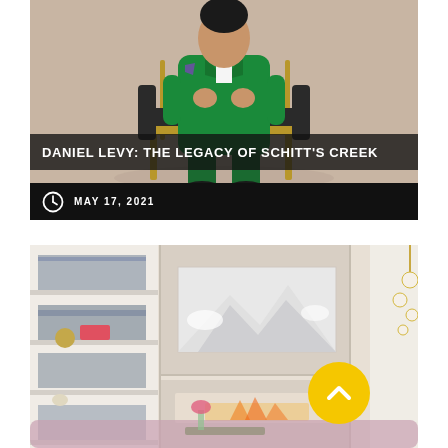[Figure (photo): Photo of Daniel Levy seated in a gold-frame chair, wearing a bright green double-breasted suit and floral bow tie, against a beige background]
DANIEL LEVY: THE LEGACY OF SCHITT'S CREEK
MAY 17, 2021
[Figure (photo): Interior design photo of a modern living room with built-in shelving displaying books and décor, a fireplace, a large black-and-white mountain artwork, and a brass pendant light]
[Figure (other): Yellow circular back-to-top button with a chevron/caret arrow pointing upward]